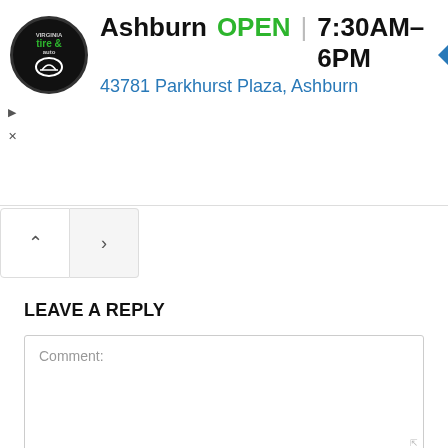[Figure (infographic): Advertisement banner for Virginia Tire & Auto showing Ashburn location. Circular logo with 'tire & auto' text, business name 'Ashburn', green 'OPEN' status, hours '7:30AM–6PM', address '43781 Parkhurst Plaza, Ashburn' in blue, and a blue diamond navigation icon on the right.]
LEAVE A REPLY
Comment:
Name:*